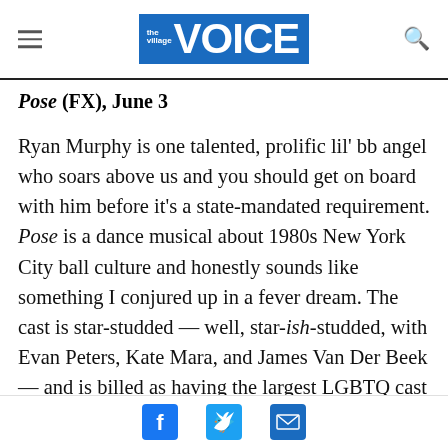the village VOICE
Pose (FX), June 3
Ryan Murphy is one talented, prolific lil' bb angel who soars above us and you should get on board with him before it's a state-mandated requirement. Pose is a dance musical about 1980s New York City ball culture and honestly sounds like something I conjured up in a fever dream. The cast is star-studded — well, star-ish-studded, with Evan Peters, Kate Mara, and James Van Der Beek — and is billed as having the largest LGBTQ cast ever assembled for a scripted TV show, all of this is great, and I am
Social share icons: Facebook, Twitter, Email